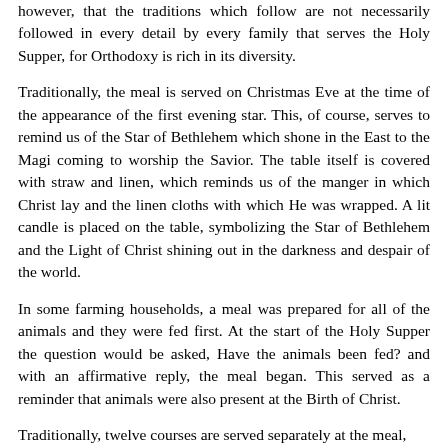however, that the traditions which follow are not necessarily followed in every detail by every family that serves the Holy Supper, for Orthodoxy is rich in its diversity.
Traditionally, the meal is served on Christmas Eve at the time of the appearance of the first evening star. This, of course, serves to remind us of the Star of Bethlehem which shone in the East to the Magi coming to worship the Savior. The table itself is covered with straw and linen, which reminds us of the manger in which Christ lay and the linen cloths with which He was wrapped. A lit candle is placed on the table, symbolizing the Star of Bethlehem and the Light of Christ shining out in the darkness and despair of the world.
In some farming households, a meal was prepared for all of the animals and they were fed first. At the start of the Holy Supper the question would be asked, Have the animals been fed? and with an affirmative reply, the meal began. This served as a reminder that animals were also present at the Birth of Christ.
Traditionally, twelve courses are served separately at the meal,